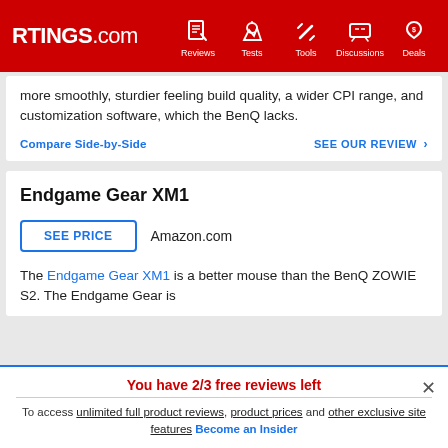RTINGS.com | Reviews | Tests | Tools | Discussions | Deals
more smoothly, sturdier feeling build quality, a wider CPI range, and customization software, which the BenQ lacks.
Compare Side-by-Side | SEE OUR REVIEW >
Endgame Gear XM1
SEE PRICE | Amazon.com
The Endgame Gear XM1 is a better mouse than the BenQ ZOWIE S2. The Endgame Gear is
You have 2/3 free reviews left
To access unlimited full product reviews, product prices and other exclusive site features Become an Insider